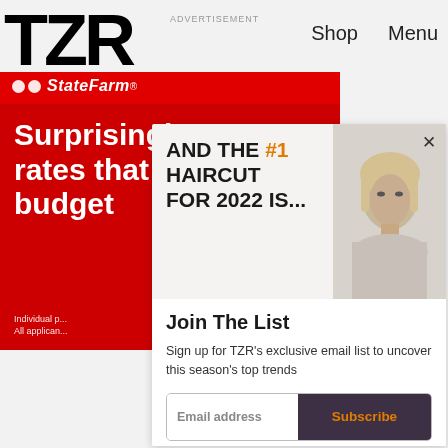TZR
ADVERTISEMENT
Shop   Menu
[Figure (screenshot): State Farm advertisement banner with red background showing 'Surprisingly great rates that fit any budget' in white bold text, with State Farm logo at top and fine print at bottom]
[Figure (photo): Partially visible photo of a blonde woman's face on a beige background]
AND THE #1 HAIRCUT FOR 2022 IS...
Join The List
Sign up for TZR's exclusive email list to uncover this season's top trends
Email address   Subscribe